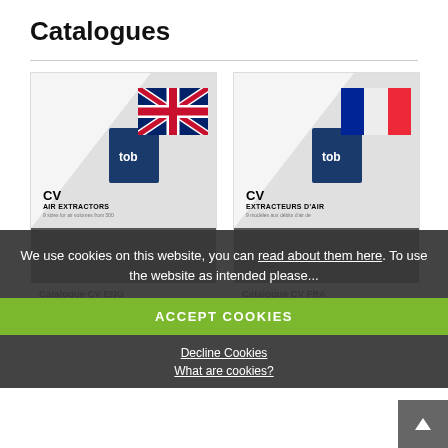Catalogues
[Figure (screenshot): Catalogue CV ENG - screenshot of catalogue cover with UK flag and CV Air Extractors text]
[Figure (screenshot): Catalogue CV FRA - screenshot of catalogue cover with French flag and CV Extracteurs d'Air text]
Catalogue CV ENG
CV_catalogue_2013_ENG.pdf
939 KB
Catalogue CV FRA
CV_catalogue_2013_FRA.pdf
948 KB
We use cookies on this website, you can read about them here. To use the website as intended please...
ACCEPT COOKIES
Decline Cookies
What are cookies?